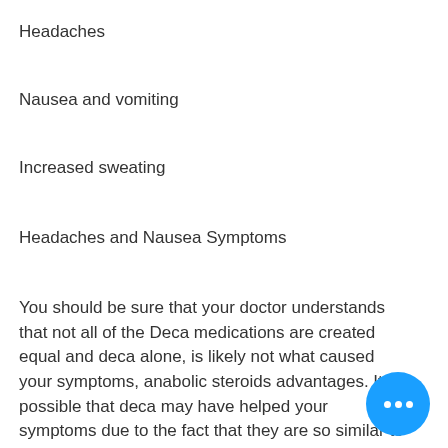Headaches
Nausea and vomiting
Increased sweating
Headaches and Nausea Symptoms
You should be sure that your doctor understands that not all of the Deca medications are created equal and deca alone, is likely not what caused your symptoms, anabolic steroids advantages. It is possible that deca may have helped your symptoms due to the fact that they are so similar to DHT medications. So it is imperative that you talk to your doctor before you begin Deca therapy. If you think the symptoms of Deca can be treated with you may need to consider DHT replacement